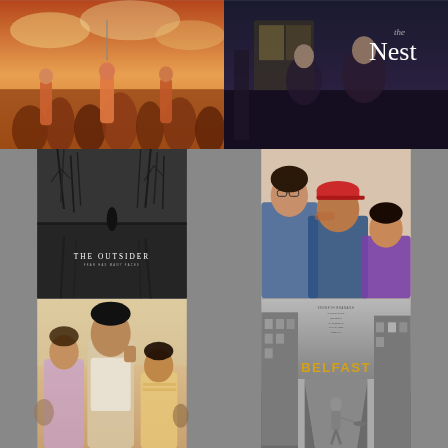[Figure (photo): Movie poster or still - top left, colorful scene with many figures in battle or crowd]
[Figure (photo): Movie poster for 'The Nest' - dark interior scene with title text]
[Figure (photo): Movie poster for 'The Outsider' - dark atmospheric trees reflected in water, subtitle 'Fear Has Many Faces']
[Figure (photo): Movie still - three people, woman with glasses, young man in red cap, and child in purple]
[Figure (photo): Movie poster - colorful Indian film with group of people]
[Figure (photo): Movie poster for 'Belfast' - black and white street scene with child running, yellow title text]